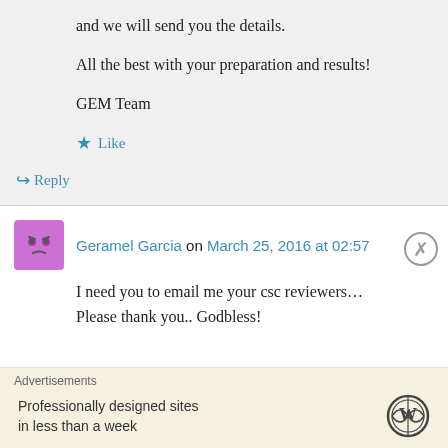and we will send you the details.
All the best with your preparation and results!
GEM Team
Like
Reply
Geramel Garcia on March 25, 2016 at 02:57
I need you to email me your csc reviewers… Please thank you.. Godbless!
Advertisements
Professionally designed sites in less than a week